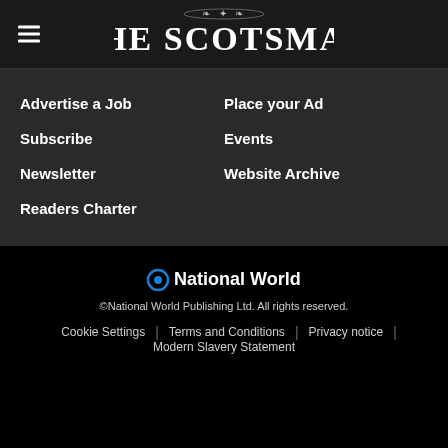[Figure (logo): The Scotsman newspaper logo with ornamental header and bold serif text]
Advertise a Job
Place your Ad
Subscribe
Events
Newsletter
Website Archive
Readers Charter
[Figure (logo): National World logo with blue circle icon]
©National World Publishing Ltd. All rights reserved.
Cookie Settings | Terms and Conditions | Privacy notice | Modern Slavery Statement